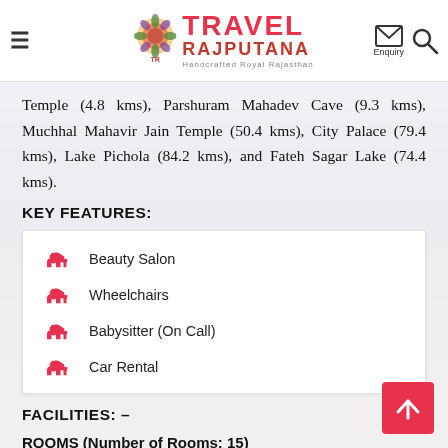Travel Rajputana — Handcrafted Royal Rajasthan
Temple (4.8 kms), Parshuram Mahadev Cave (9.3 kms), Muchhal Mahavir Jain Temple (50.4 kms), City Palace (79.4 kms), Lake Pichola (84.2 kms), and Fateh Sagar Lake (74.4 kms).
KEY FEATURES:
Beauty Salon
Wheelchairs
Babysitter (On Call)
Car Rental
FACILITIES: –
ROOMS (Number of Rooms: 15)